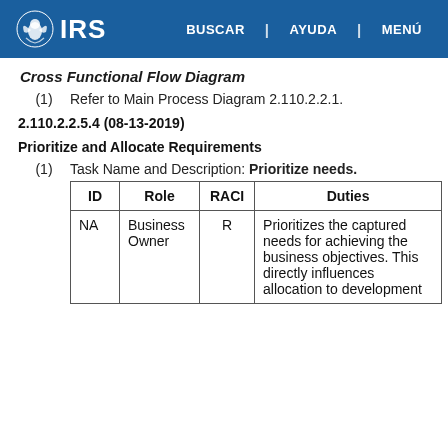IRS | BUSCAR | AYUDA | MENÚ
Cross Functional Flow Diagram
(1)    Refer to Main Process Diagram 2.110.2.2.1.
2.110.2.2.5.4 (08-13-2019)
Prioritize and Allocate Requirements
(1)    Task Name and Description: Prioritize needs.
| ID | Role | RACI | Duties |
| --- | --- | --- | --- |
| NA | Business Owner | R | Prioritizes the captured needs for achieving the business objectives. This directly influences allocation to development |